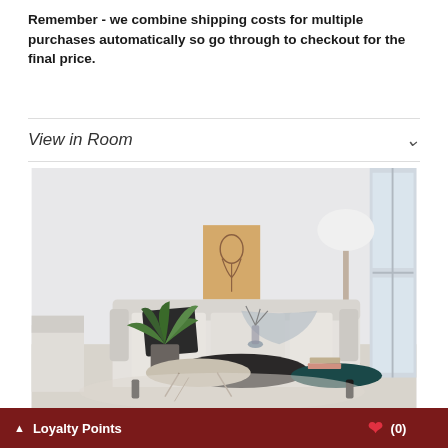Remember - we combine shipping costs for multiple purchases automatically so go through to checkout for the final price.
View in Room
[Figure (photo): A modern white living room with a grey sofa, potted plant, coffee tables, floor lamp, and a framed portrait sketch on the wall. The room is bright with natural light from windows.]
Loyalty Points
(0)